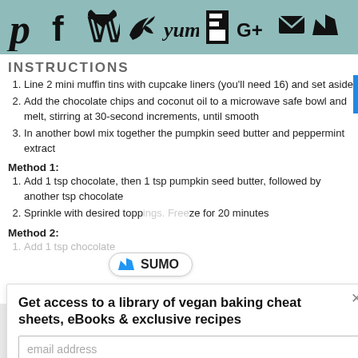Social sharing icons: Pinterest (1), Facebook, Twitter, Yum, Flipboard, Google+, Email, Crown/Sumo
INSTRUCTIONS
Line 2 mini muffin tins with cupcake liners (you'll need 16) and set aside
Add the chocolate chips and coconut oil to a microwave safe bowl and melt, stirring at 30-second increments, until smooth
In another bowl mix together the pumpkin seed butter and peppermint extract
Method 1:
Add 1 tsp chocolate, then 1 tsp pumpkin seed butter, followed by another tsp chocolate
Sprinkle with desired toppings. Freeze for 20 minutes
Method 2:
Add 1 tsp chocolate
[Figure (logo): SUMO badge with crown icon]
Get access to a library of vegan baking cheat sheets, eBooks & exclusive recipes
email address
SUBSCRIBE